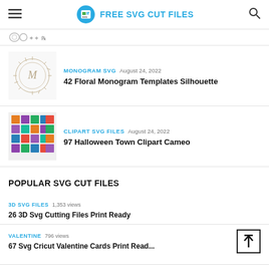FREE SVG CUT FILES
[Figure (screenshot): Partial thumbnail of a previous list item (decorative SVG clipart)]
[Figure (photo): Thumbnail: floral monogram decorative circle design]
MONOGRAM SVG  August 24, 2022
42 Floral Monogram Templates Silhouette
[Figure (photo): Thumbnail: grid of colorful Halloween town house clipart icons]
CLIPART SVG FILES  August 24, 2022
97 Halloween Town Clipart Cameo
POPULAR SVG CUT FILES
3D SVG FILES  1,353 views
26 3D Svg Cutting Files Print Ready
VALENTINE  796 views
67 Svg Cricut Valentine Cards Print Read...